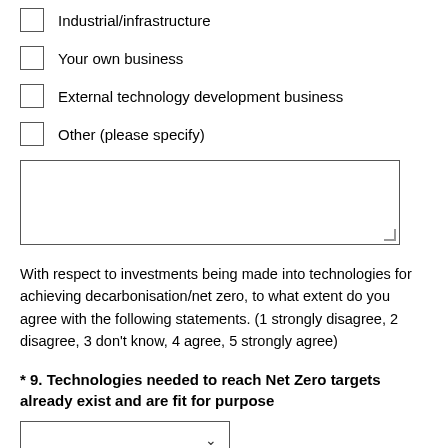Industrial/infrastructure
Your own business
External technology development business
Other (please specify)
With respect to investments being made into technologies for achieving decarbonisation/net zero, to what extent do you agree with the following statements. (1 strongly disagree, 2 disagree, 3 don’t know, 4 agree, 5 strongly agree)
* 9. Technologies needed to reach Net Zero targets already exist and are fit for purpose